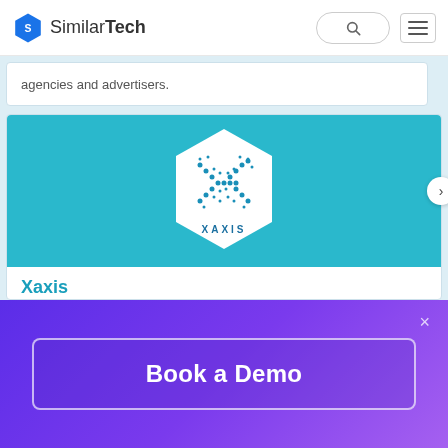SimilarTech
agencies and advertisers.
[Figure (logo): Xaxis logo — white hexagon with blue X-shape pattern and XAXIS text on teal/cyan background]
Xaxis
Websites Using Xaxis
Xaxis ads, a part of GroupM and merged with 24/7 Media.
Book a Demo